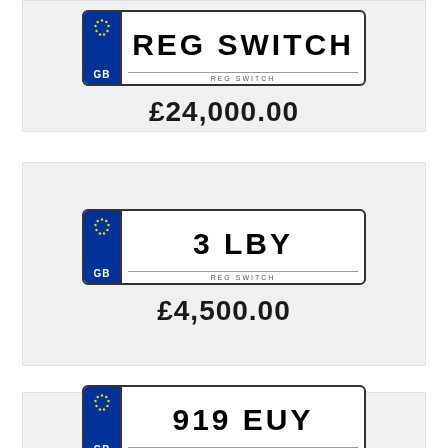[Figure (illustration): UK number plate (partially visible at top) with 'REG SWITCH' footer]
£24,000.00
[Figure (illustration): UK number plate showing '3 LBY' with blue GB euro band and 'REG SWITCH' footer]
£4,500.00
[Figure (illustration): UK number plate showing '919 EUY' with blue GB euro band and 'REG SWITCH' footer]